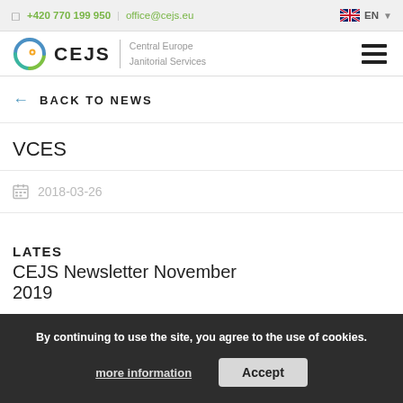+420 770 199 950 | office@cejs.eu  EN
[Figure (logo): CEJS Central Europe Janitorial Services logo with circular icon]
← BACK TO NEWS
VCES
2018-03-26
LATEST
CEJS Newsletter November 2019
By continuing to use the site, you agree to the use of cookies. more information  Accept